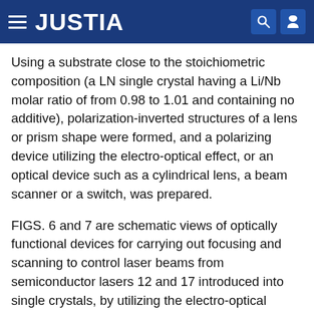JUSTIA
Using a substrate close to the stoichiometric composition (a LN single crystal having a Li/Nb molar ratio of from 0.98 to 1.01 and containing no additive), polarization-inverted structures of a lens or prism shape were formed, and a polarizing device utilizing the electro-optical effect, or an optical device such as a cylindrical lens, a beam scanner or a switch, was prepared.
FIGS. 6 and 7 are schematic views of optically functional devices for carrying out focusing and scanning to control laser beams from semiconductor lasers 12 and 17 introduced into single crystals, by utilizing the electro-optical effects formed by polarization-inverted portions 13 and 18 of lens 14 and prism 19 shapes, respectively. The above-mentioned LN single crystal with z-cut having both sides polished and having a diameter